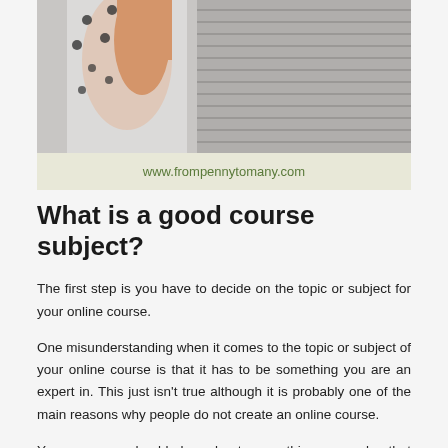[Figure (photo): Partial view of a person in a polka dot outfit with arm raised, near grey surface with lines]
www.frompennytomany.com
What is a good course subject?
The first step is you have to decide on the topic or subject for your online course.
One misunderstanding when it comes to the topic or subject of your online course is that it has to be something you are an expert in. This just isn't true although it is probably one of the main reasons why people do not create an online course.
Your course should be about something you do that distinguishes you from others. That doesn't mean that you have to be an expert. It just means that you have to pick a subject that the course is about.